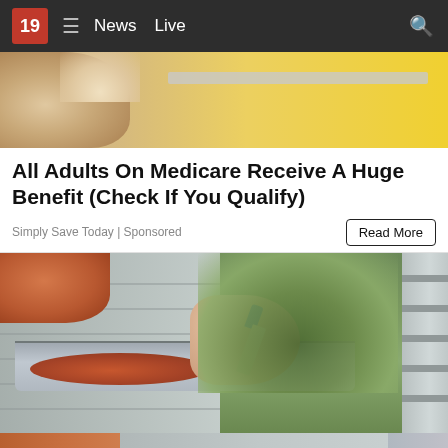19  ≡  News  Live
[Figure (photo): Close-up photo of fingers near a yellow surface, partial view of hands on edge of object]
All Adults On Medicare Receive A Huge Benefit (Check If You Qualify)
Simply Save Today | Sponsored
[Figure (photo): Person on a ladder painting or sealing a roof gutter with a brush, orange rust/corrosion visible inside the gutter, green trees in background]
[Figure (photo): Partial bottom image showing person on ladder, partially cropped]